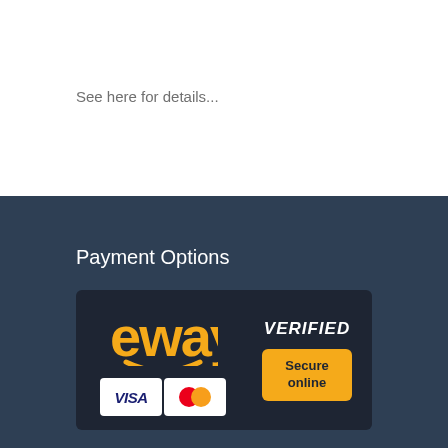See here for details...
Payment Options
[Figure (logo): eWAY Verified Secure Online payment badge with VISA and Mastercard logos on dark background]